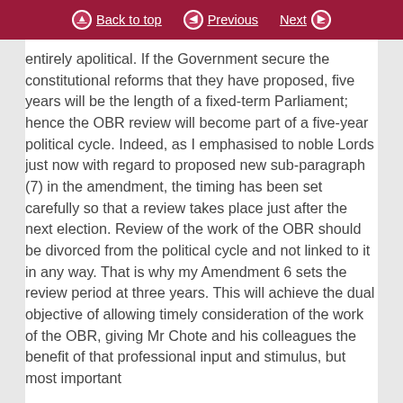Back to top | Previous | Next
entirely apolitical. If the Government secure the constitutional reforms that they have proposed, five years will be the length of a fixed-term Parliament; hence the OBR review will become part of a five-year political cycle. Indeed, as I emphasised to noble Lords just now with regard to proposed new sub-paragraph (7) in the amendment, the timing has been set carefully so that a review takes place just after the next election. Review of the work of the OBR should be divorced from the political cycle and not linked to it in any way. That is why my Amendment 6 sets the review period at three years. This will achieve the dual objective of allowing timely consideration of the work of the OBR, giving Mr Chote and his colleagues the benefit of that professional input and stimulus, but most important